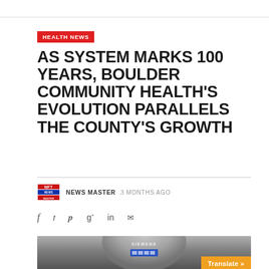HEALTH NEWS
AS SYSTEM MARKS 100 YEARS, BOULDER COMMUNITY HEALTH'S EVOLUTION PARALLELS THE COUNTY'S GROWTH
NEWS MASTER  3 MONTHS AGO
[Figure (logo): NFT News logo - red, white and blue rectangular logo]
[Figure (photo): Medical imaging machine (Siemens MRI scanner) photo, partially visible at bottom of page]
Translate »